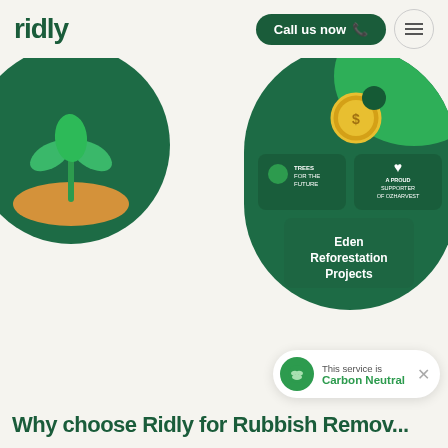ridly | Call us now
[Figure (illustration): Circular illustration of a green plant seedling sprouting from golden/orange soil, on a dark green background. Only top half visible.]
[Figure (infographic): Circular infographic on dark green background showing charity/sustainability partners: Trees for the Future, A Proud Supporter of OzHarvest, Eden Reforestation Projects. Gold coin with dollar sign at top.]
This service is Carbon Neutral
Why choose Ridly for Rubbish Removal…